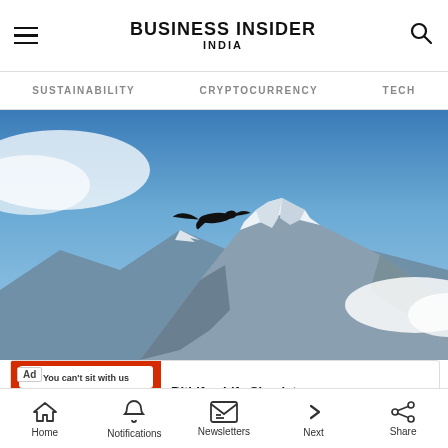BUSINESS INSIDER INDIA
SUSTAINABILITY   CRYPTOCURRENCY   TECH
[Figure (photo): A bird silhouette flying in front of a snow-capped mountain peak (likely Everest) against a blue sky with white clouds]
[Figure (screenshot): Ad banner for BitLife - Life Simulator app showing red background with game imagery]
With t... ign
Home  Notifications  Newsletters  Next  Share